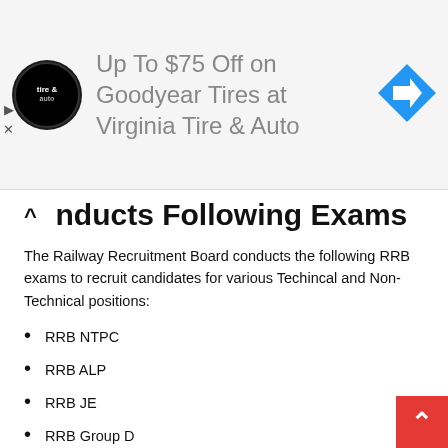[Figure (screenshot): Advertisement banner: Virginia Tire & Auto logo, text 'Up To $75 Off on Goodyear Tires at Virginia Tire & Auto', blue navigation arrow icon]
Conducts Following Exams
The Railway Recruitment Board conducts the following RRB exams to recruit candidates for various Techincal and Non-Technical positions:
RRB NTPC
RRB ALP
RRB JE
RRB Group D
RRB Ministerial and Isolated Categories